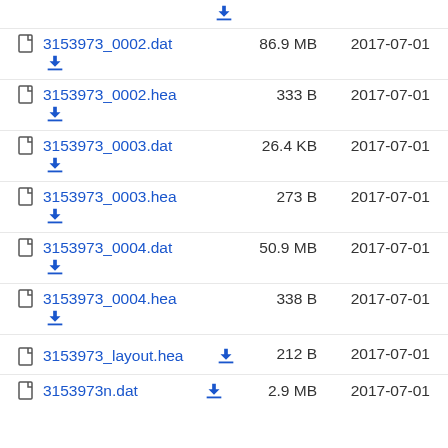3153973_0002.dat   86.9 MB   2017-07-01
3153973_0002.hea   333 B   2017-07-01
3153973_0003.dat   26.4 KB   2017-07-01
3153973_0003.hea   273 B   2017-07-01
3153973_0004.dat   50.9 MB   2017-07-01
3153973_0004.hea   338 B   2017-07-01
3153973_layout.hea   212 B   2017-07-01
3153973n.dat   2.9 MB   2017-07-01